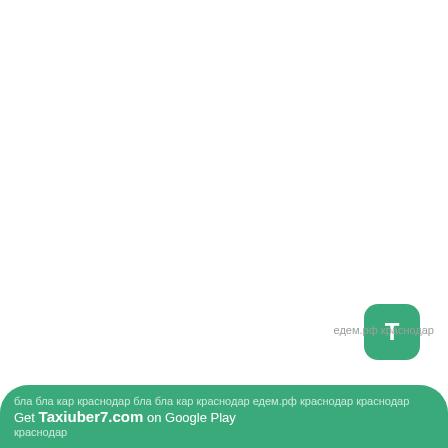[Figure (logo): Green rounded square icon with white letter T]
бла бла кар краснодар бла бла кар краснодар едем.рф краснодар краснодар
Get Taxiuber7.com on Google Play